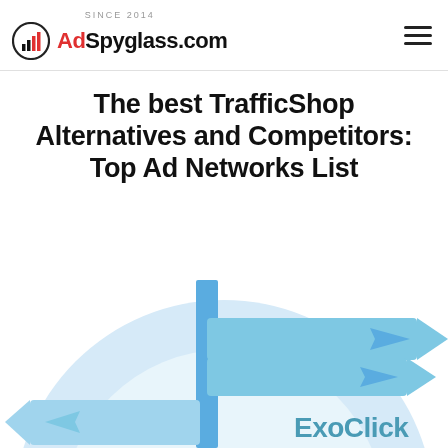SINCE 2014 AdSpyglass.com
The best TrafficShop Alternatives and Competitors: Top Ad Networks List
[Figure (illustration): A light blue circle background with signpost/directional sign illustration showing two road signs pointing right with arrows, one labeled ExoClick in teal text. A vertical blue post supports the signs.]